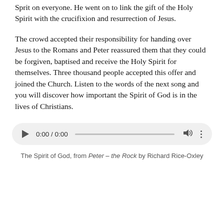Sprit on everyone. He went on to link the gift of the Holy Spirit with the crucifixion and resurrection of Jesus.
The crowd accepted their responsibility for handing over Jesus to the Romans and Peter reassured them that they could be forgiven, baptised and receive the Holy Spirit for themselves. Three thousand people accepted this offer and joined the Church. Listen to the words of the next song and you will discover how important the Spirit of God is in the lives of Christians.
[Figure (other): Audio player widget showing 0:00 / 0:00 with play button, progress bar, volume icon, and more options icon]
The Spirit of God, from Peter – the Rock by Richard Rice-Oxley